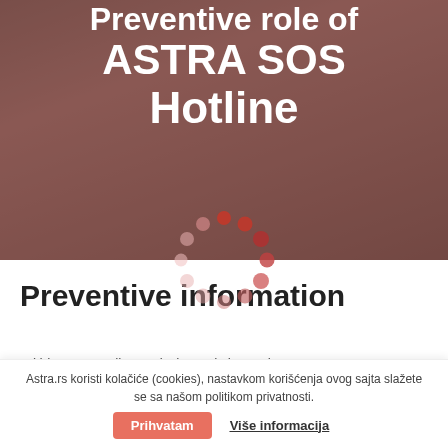Preventive role of ASTRA SOS Hotline
[Figure (other): Loading spinner made of pink and red circles arranged in a ring pattern]
Preventive information
Within SOS Hotline and Direct Victim Assistance Program
Astra.rs koristi kolačiće (cookies), nastavkom korišćenja ovog sajta slažete se sa našom politikom privatnosti. Prihvatam Više informacija